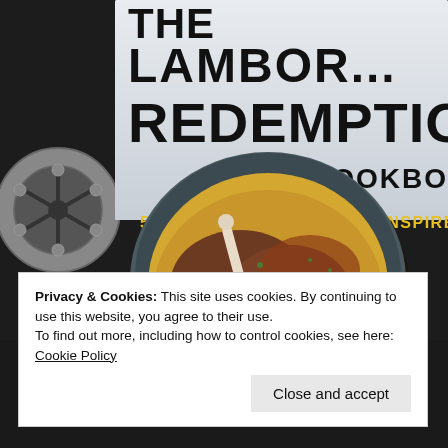[Figure (photo): Book cover of 'The Lamborghini Redemption Cookbook' showing the title in large bold black letters on a light background, subtitle '50 BLOCKBUSTER MOVIE-INSPIRED RECIPES' in yellow bold text, a film reel on the left, and a ceramic bowl filled with braised lamb shanks on a bed of polenta or mashed potato with sauce and herbs, all on a dark background.]
Privacy & Cookies: This site uses cookies. By continuing to use this website, you agree to their use.
To find out more, including how to control cookies, see here: Cookie Policy
Close and accept